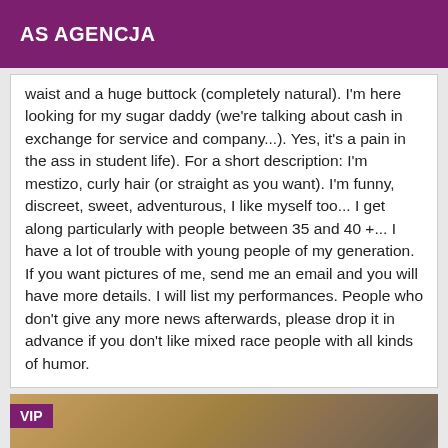AS AGENCJA
waist and a huge buttock (completely natural). I'm here looking for my sugar daddy (we're talking about cash in exchange for service and company...). Yes, it's a pain in the ass in student life). For a short description: I'm mestizo, curly hair (or straight as you want). I'm funny, discreet, sweet, adventurous, I like myself too... I get along particularly with people between 35 and 40 +... I have a lot of trouble with young people of my generation. If you want pictures of me, send me an email and you will have more details. I will list my performances. People who don't give any more news afterwards, please drop it in advance if you don't like mixed race people with all kinds of humor.
[Figure (photo): A close-up photo with a VIP badge in the upper left corner. The image shows what appears to be wooden or metallic diagonal lines/stripes in muted gold/brown tones with a partial view of a hand or object at the right edge.]